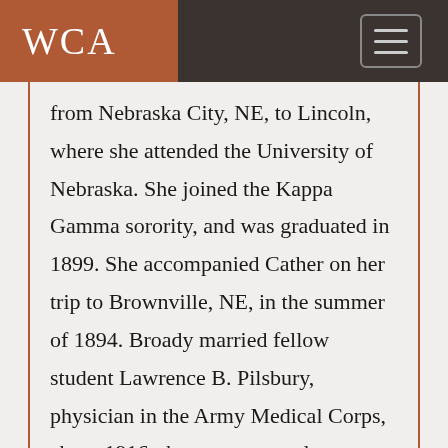WCA
from Nebraska City, NE, to Lincoln, where she attended the University of Nebraska. She joined the Kappa Gamma sorority, and was graduated in 1899. She accompanied Cather on her trip to Brownville, NE, in the summer of 1894. Broady married fellow student Lawrence B. Pilsbury, physician in the Army Medical Corps, about 1916; they were posted to various places around the country, retiring to San Francisco, CA, where she was still living in 1942.